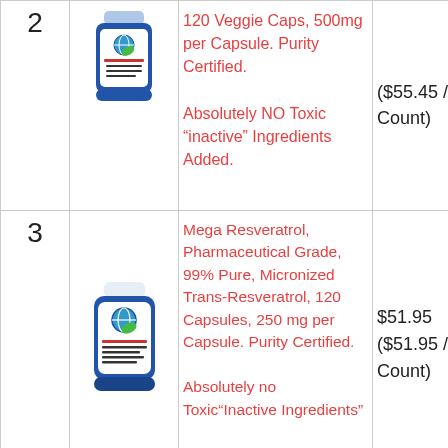| # | Image | Description | Price | Action |
| --- | --- | --- | --- | --- |
| 2 | [bottle image] | 120 Veggie Caps, 500mg per Capsule. Purity Certified. Absolutely NO Toxic “inactive” Ingredients Added. | ($55.45 / Count) |  |
| 3 | [bottle image] | Mega Resveratrol, Pharmaceutical Grade, 99% Pure, Micronized Trans-Resveratrol, 120 Capsules, 250 mg per Capsule. Purity Certified. Absolutely no Toxic“Inactive Ingredients” | $51.95 ($51.95 / Count) |  |